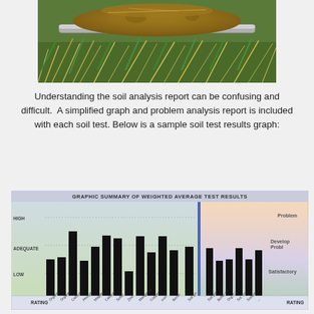[Figure (photo): Close-up photo of a soil core sample on a rod lying on grass and plant material]
Understanding the soil analysis report can be confusing and difficult.  A simplified graph and problem analysis report is included with each soil test. Below is a sample soil test results graph:
[Figure (bar-chart): Bar chart showing soil test results for multiple nutrients/parameters rated as HIGH, ADEQUATE, or LOW, with a right section showing Problem, Developing Problem, and Satisfactory ratings. Categories include Organic Matter, Calcium, Sulfur, Zinc, Manganese, Copper, Iron, Boron, Soil pH, Buffer pH, Organic Calcium, Soluble Salt, Sodium along bottom labeled RATING.]